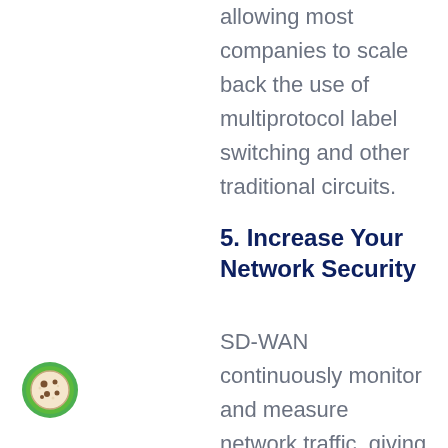allowing most companies to scale back the use of multiprotocol label switching and other traditional circuits.
5. Increase Your Network Security
SD-WAN continuously monitor and measure network traffic, giving your IT department deep visibility into your WAN and allowing them to quickly pinpoint a